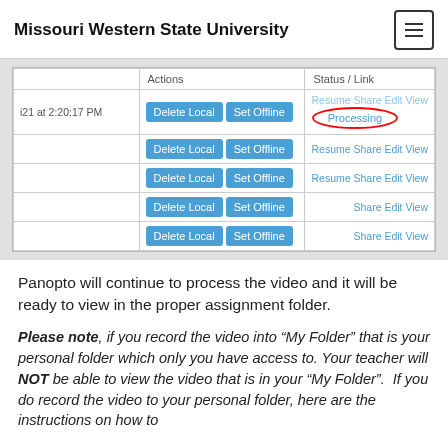Missouri Western State University
[Figure (screenshot): A table UI showing video entries with actions (Delete Local, Set Offline buttons) and Status/Link column. The first row shows 'Processing' status circled in red, other rows show 'Resume Share Edit View' or 'Share Edit View' links.]
Panopto will continue to process the video and it will be ready to view in the proper assignment folder.
Please note, if you record the video into “My Folder” that is your personal folder which only you have access to. Your teacher will NOT be able to view the video that is in your “My Folder”.  If you do record the video to your personal folder, here are the instructions on how to